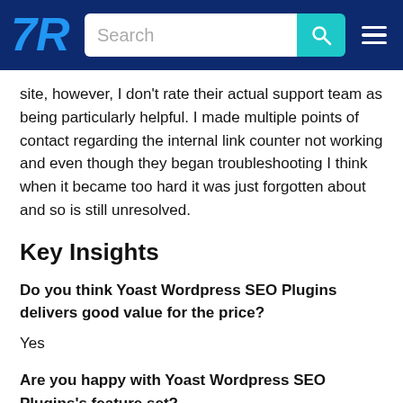[TrustRadius navigation bar with logo, search field, and hamburger menu]
site, however, I don't rate their actual support team as being particularly helpful. I made multiple points of contact regarding the internal link counter not working and even though they began troubleshooting I think when it became too hard it was just forgotten about and so is still unresolved.
Key Insights
Do you think Yoast Wordpress SEO Plugins delivers good value for the price?
Yes
Are you happy with Yoast Wordpress SEO Plugins's feature set?
Yes